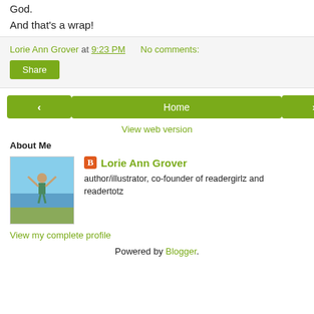God.
And that's a wrap!
Lorie Ann Grover at 9:23 PM   No comments:
Share
< Home >
View web version
About Me
[Figure (photo): Profile photo of a person at the beach with arms raised, blue sky and water in background]
Lorie Ann Grover
author/illustrator, co-founder of readergirlz and readertotz
View my complete profile
Powered by Blogger.